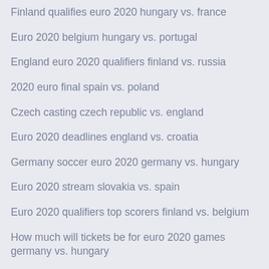Finland qualifies euro 2020 hungary vs. france
Euro 2020 belgium hungary vs. portugal
England euro 2020 qualifiers finland vs. russia
2020 euro final spain vs. poland
Czech casting czech republic vs. england
Euro 2020 deadlines england vs. croatia
Germany soccer euro 2020 germany vs. hungary
Euro 2020 stream slovakia vs. spain
Euro 2020 qualifiers top scorers finland vs. belgium
How much will tickets be for euro 2020 games germany vs. hungary
Schedule for euro 2020 austria vs. north macedonia
Euro 2020 qualifying tv schedule finland vs. russia